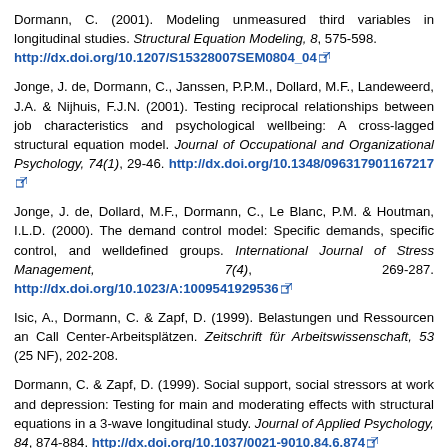Dormann, C. (2001). Modeling unmeasured third variables in longitudinal studies. Structural Equation Modeling, 8, 575-598. http://dx.doi.org/10.1207/S15328007SEM0804_04
Jonge, J. de, Dormann, C., Janssen, P.P.M., Dollard, M.F., Landeweerd, J.A. & Nijhuis, F.J.N. (2001). Testing reciprocal relationships between job characteristics and psychological wellbeing: A cross-lagged structural equation model. Journal of Occupational and Organizational Psychology, 74(1), 29-46. http://dx.doi.org/10.1348/096317901167217
Jonge, J. de, Dollard, M.F., Dormann, C., Le Blanc, P.M. & Houtman, I.L.D. (2000). The demand control model: Specific demands, specific control, and welldefined groups. International Journal of Stress Management, 7(4), 269-287. http://dx.doi.org/10.1023/A:1009541929536
Isic, A., Dormann, C. & Zapf, D. (1999). Belastungen und Ressourcen an Call Center-Arbeitsplätzen. Zeitschrift für Arbeitswissenschaft, 53 (25 NF), 202-208.
Dormann, C. & Zapf, D. (1999). Social support, social stressors at work and depression: Testing for main and moderating effects with structural equations in a 3-wave longitudinal study. Journal of Applied Psychology, 84, 874-884. http://dx.doi.org/10.1037/0021-9010.84.6.874
Zapf, D., Dormann, C. & Frese, M. (1996). Longitudinal studies in organizational stress research: A review of the literature with reference to methodological issues. Journal of Occupational Health Psychology, 1, 145